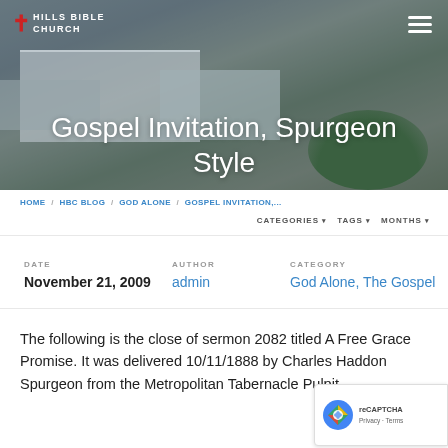[Figure (photo): Aerial photo of Hills Bible Church building complex with landscaping and trees, overlaid with semi-transparent dark tint]
Gospel Invitation, Spurgeon Style
HOME / HBC BLOG / GOD ALONE / GOSPEL INVITATION,...
CATEGORIES ▾   TAGS ▾   MONTHS ▾
DATE
November 21, 2009
AUTHOR
admin
CATEGORY
God Alone, The Gospel
The following is the close of sermon 2082 titled A Free Grace Promise. It was delivered 10/11/1888 by Charles Haddon Spurgeon from the Metropolitan Tabernacle Pulpit.